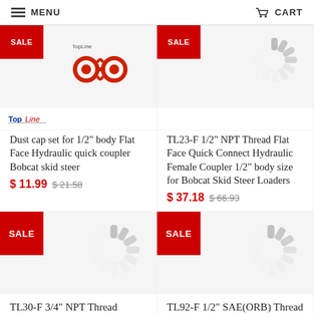MENU | CART
[Figure (photo): Dust cap set product image with red sale badge and TopLine logo]
Dust cap set for 1/2" body Flat Face Hydraulic quick coupler Bobcat skid steer
$ 11.99  $ 21.58
[Figure (photo): TL23-F hydraulic coupler product image with red sale badge and loading spinner]
TL23-F 1/2" NPT Thread Flat Face Quick Connect Hydraulic Female Coupler 1/2" body size for Bobcat Skid Steer Loaders
$ 37.18  $ 66.93
[Figure (photo): TL30-F product image with red sale badge and loading spinner]
TL30-F 3/4" NPT Thread Female
[Figure (photo): TL92-F product image with red sale badge and loading spinner]
TL92-F 1/2" SAE(ORB) Thread